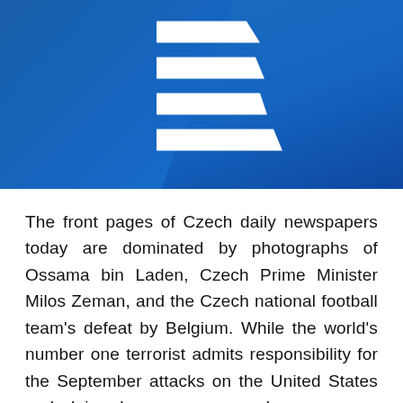[Figure (logo): Czech Radio (Český rozhlas) logo — white stylized letter R made of four horizontal parallelogram/trapezoid shapes on a blue gradient background]
The front pages of Czech daily newspapers today are dominated by photographs of Ossama bin Laden, Czech Prime Minister Milos Zeman, and the Czech national football team's defeat by Belgium. While the world's number one terrorist admits responsibility for the September attacks on the United States and claims he possesses nuclear weapons, Mr. Zeman is depicted as having a friendly chat over a pint of beer during his visit to the United States. And as far as football is concerned,